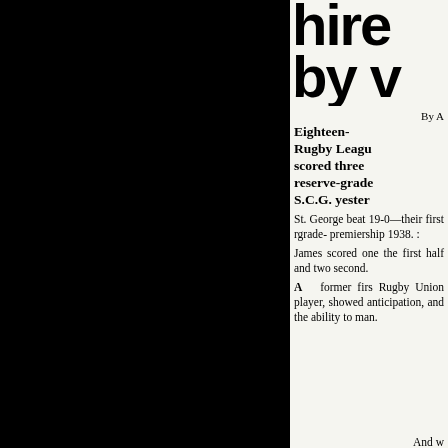Hire by w
By A
Eighteen- Rugby League scored three reserve-grade S.C.G. yesterd
St. George beat 19-0—their first reserve-grade premiership 1938.
James scored one the first half and two second.
A former first Rugby Union player, showed anticipation, and the ability to man.
And w